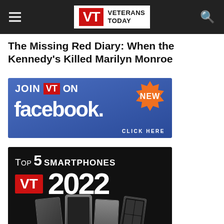Veterans Today
The Missing Red Diary: When the Kennedy's Killed Marilyn Monroe
[Figure (infographic): Veterans Today Facebook ad: blue background with JOIN VT ON NEW facebook. CLICK HERE button]
[Figure (infographic): Top 5 Smartphones VT 2022 black background ad with smartphone images]